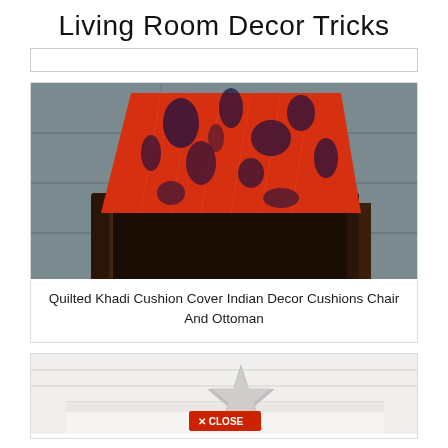Living Room Decor Tricks
[Figure (photo): A red and navy blue quilted khadi cushion cover leaning on a dark wooden chair frame against a grey concrete wall background]
Quilted Khadi Cushion Cover Indian Decor Cushions Chair And Ottoman
[Figure (photo): A white sofa with a sparkly/sequin star-shaped cushion against a white shiplap wall, with a red CLOSE button overlay]